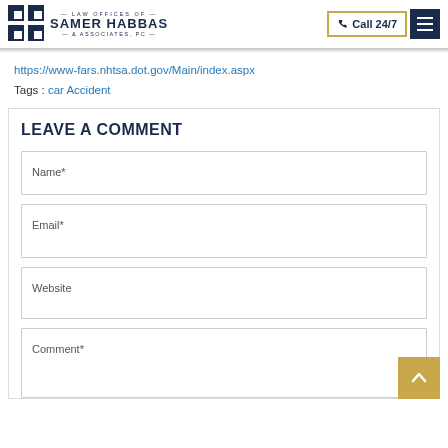Law Offices of Samer Habbas & Associates, PC — Call 24/7
https://www-fars.nhtsa.dot.gov/Main/index.aspx
Tags : car Accident
LEAVE A COMMENT
Name*
Email*
Website
Comment*